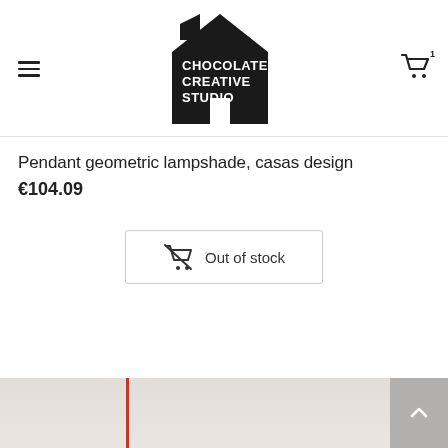[Figure (logo): Chocolate Creative Studio logo — black house-shaped icon with white text reading CHOCOLATE CREATIVE STUDIO]
Pendant geometric lampshade, casas design
€104.09
[Figure (other): Out of stock button with cart icon and text 'Out of stock']
[Figure (photo): Bottom portion of a product image showing a light beige/grey background with a red vertical line element]